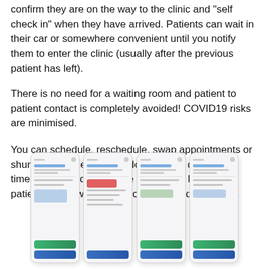confirm they are on the way to the clinic and "self check in" when they have arrived. Patients can wait in their car or somewhere convenient until you notify them to enter the clinic (usually after the previous patient has left).
There is no need for a waiting room and patient to patient contact is completely avoided! COVID19 risks are minimised.
You can schedule, reschedule, swap appointments or shunt appointments up or down on the day, in real time. You can configure the buffer time between patients to allow for facility cleaning or disinfection.
[Figure (screenshot): Four smartphone screenshots showing a patient check-in or appointment management app interface, each displaying form fields, status indicators, and action buttons including green and blue bars.]